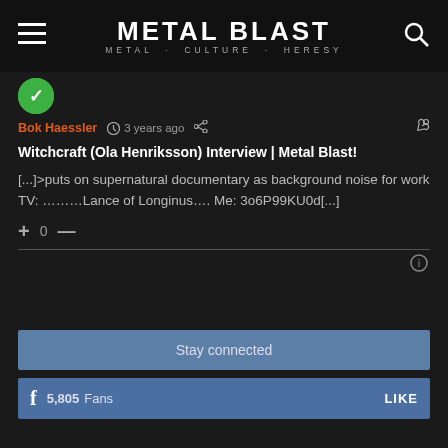METAL BLAST — METAL · CULTURE · HERESY
Bok Haessler  3 years ago
Witchcraft (Ola Henriksson) Interview | Metal Blast!
[...]>puts on supernatural documentary as background noise for work TV: ………Lance of Longinus…. Me: 3o6P99KU0d[...]
+ 0 —
Stay connected
5,805  Fans  LIKE